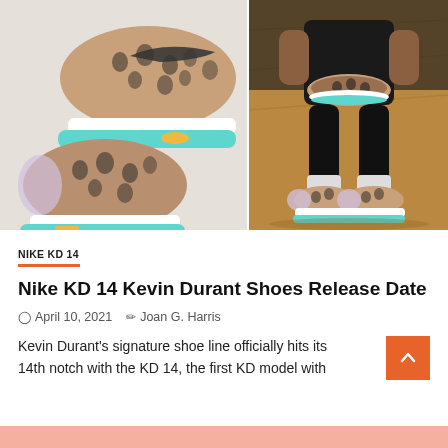[Figure (photo): Two Nike KD 14 sneakers shown from above on the left panel; a person sitting and holding the sneaker on the right panel, wearing matching KD 14 shoes]
NIKE KD 14
Nike KD 14 Kevin Durant Shoes Release Date
April 10, 2021   Joan G. Harris
Kevin Durant's signature shoe line officially hits its 14th notch with the KD 14, the first KD model with